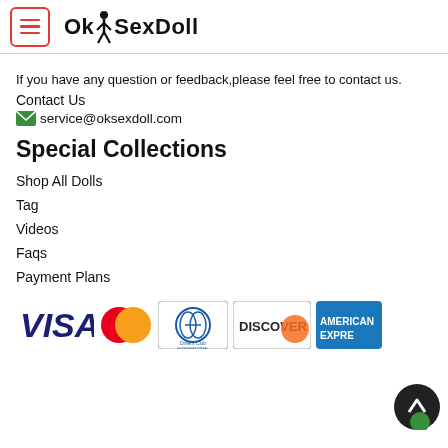OKSexDoll
If you have any question or feedback,please feel free to contact us.
Contact Us
service@oksexdoll.com
Special Collections
Shop All Dolls
Tag
Videos
Faqs
Payment Plans
[Figure (logo): Payment method logos: VISA, Mastercard, Diners Club International, Discover, American Express]